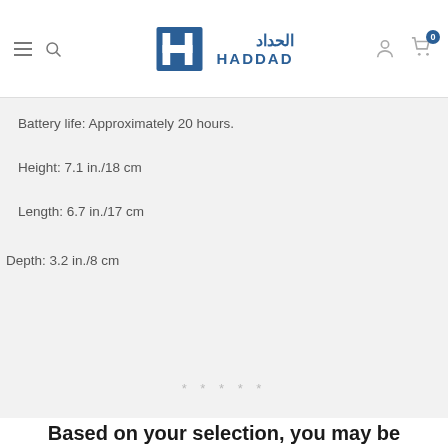HADDAD
Battery life: Approximately 20 hours.
Height: 7.1 in./18 cm
Length: 6.7 in./17 cm
Depth: 3.2 in./8 cm
*****
Based on your selection, you may be